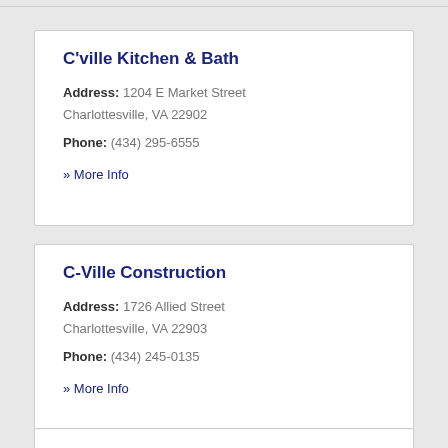C'ville Kitchen & Bath
Address: 1204 E Market Street Charlottesville, VA 22902
Phone: (434) 295-6555
» More Info
C-Ville Construction
Address: 1726 Allied Street Charlottesville, VA 22903
Phone: (434) 245-0135
» More Info